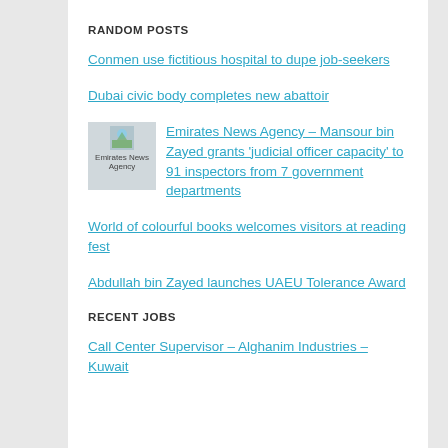RANDOM POSTS
Conmen use fictitious hospital to dupe job-seekers
Dubai civic body completes new abattoir
Emirates News Agency – Mansour bin Zayed grants 'judicial officer capacity' to 91 inspectors from 7 government departments
World of colourful books welcomes visitors at reading fest
Abdullah bin Zayed launches UAEU Tolerance Award
RECENT JOBS
Call Center Supervisor – Alghanim Industries – Kuwait